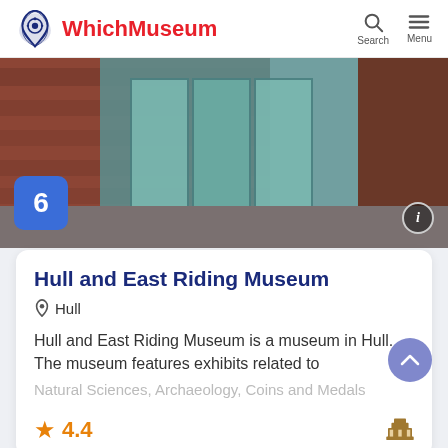WhichMuseum
[Figure (photo): Exterior photo of Hull and East Riding Museum showing glass entrance doors and brick facade, with number badge 6 in bottom-left corner and info icon in bottom-right]
Hull and East Riding Museum
Hull
Hull and East Riding Museum is a museum in Hull. The museum features exhibits related to
Natural Sciences, Archaeology, Coins and Medals
4.4
Advertisement